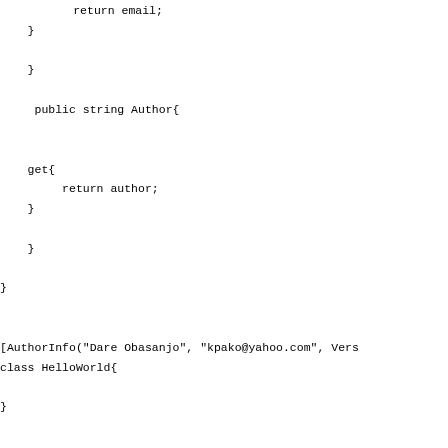return email;
    }

    }

     public string Author{


    get{
         return author;
    }

    }

}


[AuthorInfo("Dare Obasanjo", "kpako@yahoo.com", Vers
class HelloWorld{

}


class AttributeTest{

    public static void Main(string[] args){

    /* Get Type object of HelloWorld class */
    Type t = typeof(HelloWorld);